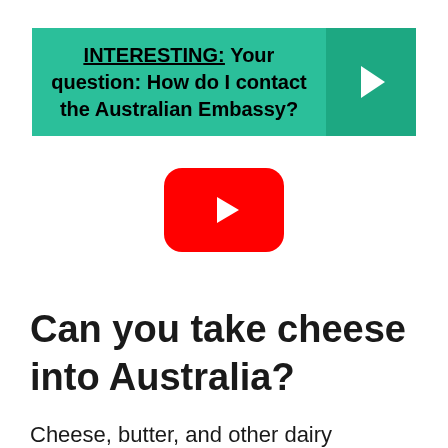[Figure (screenshot): Green banner with bold text: INTERESTING: Your question: How do I contact the Australian Embassy? with a darker green arrow button on the right]
[Figure (other): YouTube play button icon — red rounded rectangle with white triangle play arrow]
Can you take cheese into Australia?
Cheese, butter, and other dairy products are